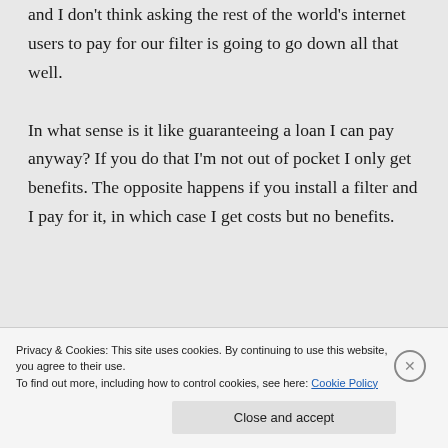and I don't think asking the rest of the world's internet users to pay for our filter is going to go down all that well.

In what sense is it like guaranteeing a loan I can pay anyway? If you do that I'm not out of pocket I only get benefits. The opposite happens if you install a filter and I pay for it, in which case I get costs but no benefits.
Privacy & Cookies: This site uses cookies. By continuing to use this website, you agree to their use.
To find out more, including how to control cookies, see here: Cookie Policy